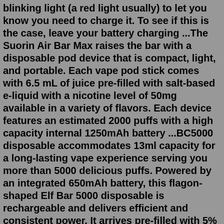blinking light (a red light usually) to let you know you need to charge it. To see if this is the case, leave your battery charging ...The Suorin Air Bar Max raises the bar with a disposable pod device that is compact, light, and portable. Each vape pod stick comes with 6.5 mL of juice pre-filled with salt-based e-liquid with a nicotine level of 50mg available in a variety of flavors. Each device features an estimated 2000 puffs with a high capacity internal 1250mAh battery ...BC5000 disposable accommodates 13ml capacity for a long-lasting vape experience serving you more than 5000 delicious puffs. Powered by an integrated 650mAh battery, this flagon-shaped Elf Bar 5000 disposable is rechargeable and delivers efficient and consistent power. It arrives pre-filled with 5% nicotine salt eLiquid. Quick Links : Colis : Caliburn G2 Coils Pods : Caliburn G2 Pods Uwell Caliburn G2 Pod System Features: Dimensions - 110mm by 22.5mm by 13mm; Integrated 750mAh Battery; Max Wattage Output: 18WFiring line definition: If you are in the firing line in a conflict , you are in a position